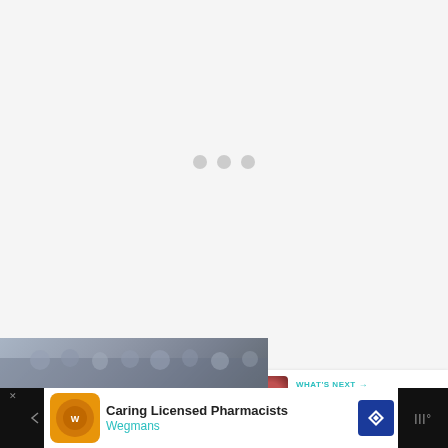[Figure (screenshot): Loading screen with three gray dots centered on a light gray background]
[Figure (screenshot): Teal heart/like button showing 57 likes, and a share button below]
[Figure (screenshot): What's Next panel showing thumbnail and title '2019 Manito Ahbee Pow...']
[Figure (photo): Bottom strip photo showing crowd of people in bleachers/stands]
[Figure (screenshot): Advertisement bar for Wegmans Caring Licensed Pharmacists]